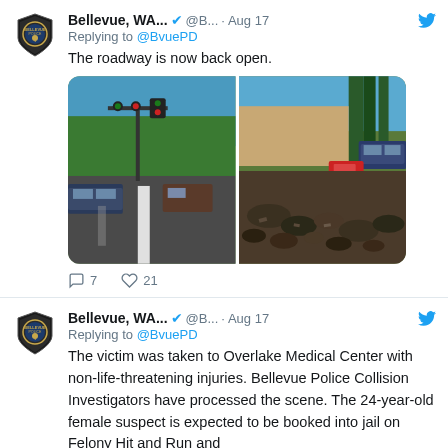[Figure (screenshot): Twitter/X post from Bellevue WA Police. Username: Bellevue, WA... @B... Aug 17. Replying to @BvuePD. Text: The roadway is now back open. Two photos of a road intersection showing a car accident scene. Engagement: 7 replies, 21 likes.]
[Figure (screenshot): Twitter/X post from Bellevue WA Police. Username: Bellevue, WA... @B... Aug 17. Replying to @BvuePD. Text: The victim was taken to Overlake Medical Center with non-life-threatening injuries. Bellevue Police Collision Investigators have processed the scene. The 24-year-old female suspect is expected to be booked into jail on Felony Hit and Run and...]